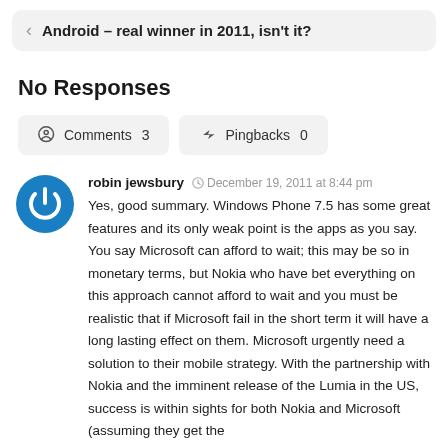Android – real winner in 2011, isn't it?
No Responses
Comments  3    Pingbacks  0
robin jewsbury  December 19, 2011 at 8:44 pm
Yes, good summary. Windows Phone 7.5 has some great features and its only weak point is the apps as you say. You say Microsoft can afford to wait; this may be so in monetary terms, but Nokia who have bet everything on this approach cannot afford to wait and you must be realistic that if Microsoft fail in the short term it will have a long lasting effect on them. Microsoft urgently need a solution to their mobile strategy. With the partnership with Nokia and the imminent release of the Lumia in the US, success is within sights for both Nokia and Microsoft (assuming they get the